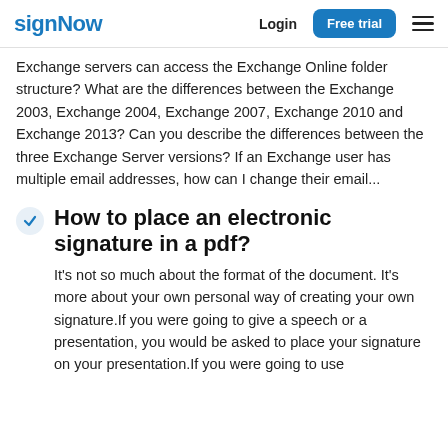signNow  Login  Free trial
Exchange servers can access the Exchange Online folder structure? What are the differences between the Exchange 2003, Exchange 2004, Exchange 2007, Exchange 2010 and Exchange 2013? Can you describe the differences between the three Exchange Server versions? If an Exchange user has multiple email addresses, how can I change their email...
How to place an electronic signature in a pdf?
It's not so much about the format of the document. It's more about your own personal way of creating your own signature.If you were going to give a speech or a presentation, you would be asked to place your signature on your presentation.If you were going to use